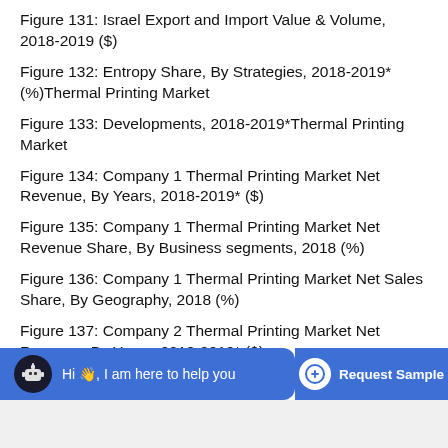Figure 131: Israel Export and Import Value & Volume, 2018-2019 ($)
Figure 132: Entropy Share, By Strategies, 2018-2019* (%)Thermal Printing Market
Figure 133: Developments, 2018-2019*Thermal Printing Market
Figure 134: Company 1 Thermal Printing Market Net Revenue, By Years, 2018-2019* ($)
Figure 135: Company 1 Thermal Printing Market Net Revenue Share, By Business segments, 2018 (%)
Figure 136: Company 1 Thermal Printing Market Net Sales Share, By Geography, 2018 (%)
Figure 137: Company 2 Thermal Printing Market Net Revenue, By Years, 2018-2019* ($)
Figure 138: Company 2 Thermal Printing Market Net Revenue Share, By Business segments, 2018 (%)